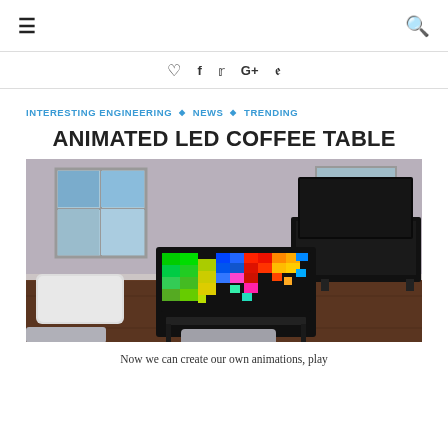≡  🔍
♡  f  𝕥  G+  𝕡
INTERESTING ENGINEERING ◇ NEWS ◇ TRENDING
ANIMATED LED COFFEE TABLE
[Figure (photo): Room interior with a coffee table displaying a colorful animated LED pattern (rainbow pixel art), white ottoman on left, TV on stand on right, hardwood floor, windows in background.]
Now we can create our own animations, play